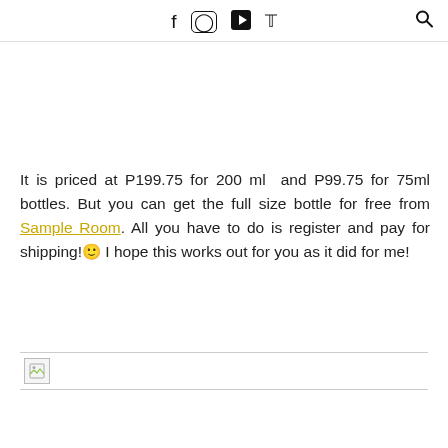Social media icons: Facebook, Instagram, YouTube, Twitter; Search icon
It is priced at P199.75 for 200 ml  and P99.75 for 75ml bottles. But you can get the full size bottle for free from Sample Room. All you have to do is register and pay for shipping!🙂 I hope this works out for you as it did for me!
[Figure (other): Broken image placeholder at bottom of page]